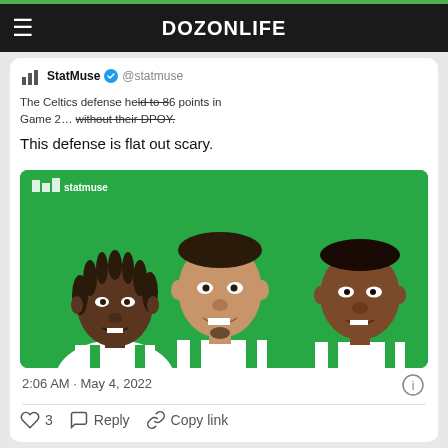DOZONLIFE
StatMuse @statmuse
The Celtics defense held to 86 points in Game 2... without their DPOY.

This defense is flat out scary.
[Figure (illustration): StatMuse illustration showing three Boston Celtics players in cartoon/caricature style wearing white Celtics jerseys with green trim, on a green background. Logo 'statmuse' visible in top left.]
2:06 AM · May 4, 2022
3   Reply   Copy link
Explore what's happening on Twitter